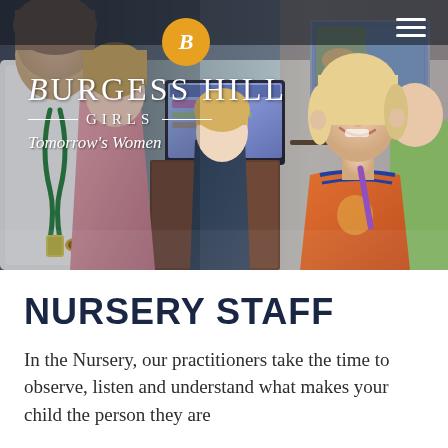[Figure (photo): Hero photo showing nursery children and a teacher/practitioner around a computer screen in a classroom. A young girl in an orange top smiles at the camera on the right. A boy in a dark top is seen from behind. An adult with a green lanyard is visible on the left.]
NURSERY STAFF
In the Nursery, our practitioners take the time to observe, listen and understand what makes your child the person they are